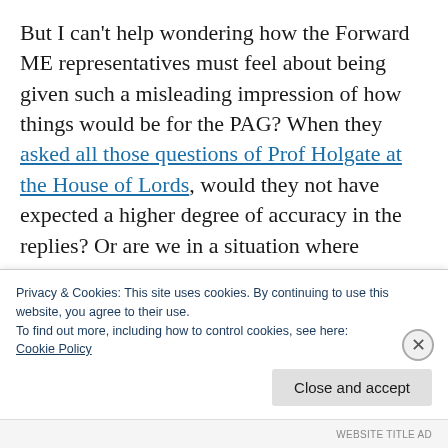But I can't help wondering how the Forward ME representatives must feel about being given such a misleading impression of how things would be for the PAG? When they asked all those questions of Prof Holgate at the House of Lords, would they not have expected a higher degree of accuracy in the replies? Or are we in a situation where anyone in power can say  whatever they like, regardless of the facts? While patients are cast as troublemakers however much truth they have on their side
Privacy & Cookies: This site uses cookies. By continuing to use this website, you agree to their use.
To find out more, including how to control cookies, see here:
Cookie Policy
Close and accept